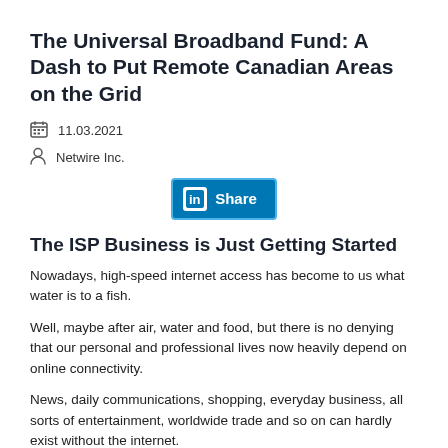The Universal Broadband Fund: A Dash to Put Remote Canadian Areas on the Grid
11.03.2021
Netwire Inc.
[Figure (other): LinkedIn Share button]
The ISP Business is Just Getting Started
Nowadays, high-speed internet access has become to us what water is to a fish.
Well, maybe after air, water and food, but there is no denying that our personal and professional lives now heavily depend on online connectivity.
News, daily communications, shopping, everyday business, all sorts of entertainment, worldwide trade and so on can hardly exist without the internet.